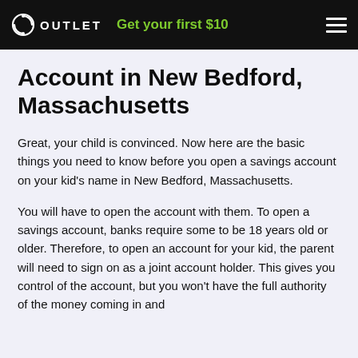OUTLET | Get your first $10
Account in New Bedford, Massachusetts
Great, your child is convinced. Now here are the basic things you need to know before you open a savings account on your kid’s name in New Bedford, Massachusetts.
You will have to open the account with them. To open a savings account, banks require some to be 18 years old or older. Therefore, to open an account for your kid, the parent will need to sign on as a joint account holder. This gives you control of the account, but you won’t have the full authority of the money coming in and